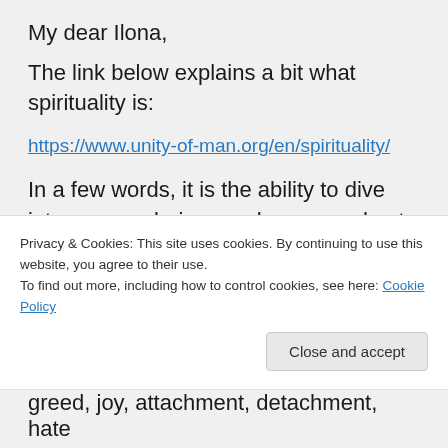My dear Ilona,
The link below explains a bit what spirituality is:
https://www.unity-of-man.org/en/spirituality/
In a few words, it is the ability to dive into our own being, analyze us and get to know the mind, how it works, become more conscious in the process of: “Man know thyself” – the strange thing is that we all
Privacy & Cookies: This site uses cookies. By continuing to use this website, you agree to their use.
To find out more, including how to control cookies, see here: Cookie Policy
Close and accept
greed, joy, attachment, detachment, hate